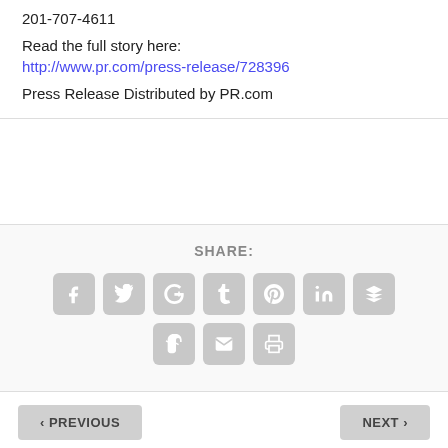201-707-4611
Read the full story here:
http://www.pr.com/press-release/728396
Press Release Distributed by PR.com
SHARE:
[Figure (infographic): Social share buttons: Facebook, Twitter, Google+, Tumblr, Pinterest, LinkedIn, Buffer (top row); StumbleUpon, Email, Print (bottom row)]
< PREVIOUS
NEXT >